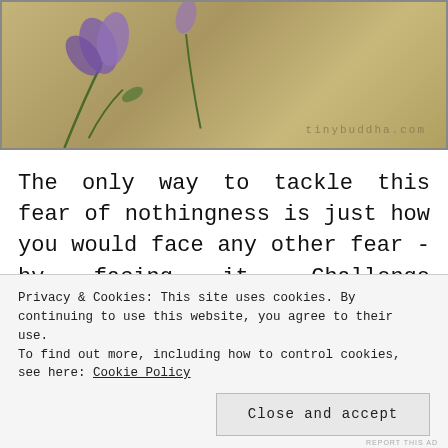[Figure (photo): Decorative image with golden/tan textured background featuring purple flowers and the watermark text 'tinybuddha.com']
The only way to tackle this fear of nothingness is just how you would face any other fear - by facing it. Challenge yourself often to disconnect from everything and simply do nothing. Stare emptily into a wall, outside your window, observe the comings and goings of your thoughts with every breath that you do this. you would be re to mind
Privacy & Cookies: This site uses cookies. By continuing to use this website, you agree to their use.
To find out more, including how to control cookies, see here: Cookie Policy
Close and accept
REPORT THIS AD